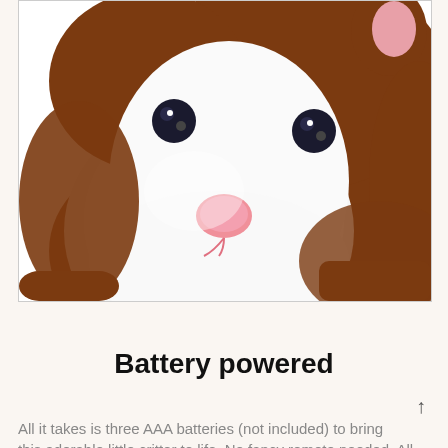[Figure (photo): Close-up photo of a brown and white plush hamster toy with black bead eyes, a pink nose, and soft fluffy fur. The hamster is photographed against a white background.]
Battery powered
All it takes is three AAA batteries (not included) to bring this adorable little critter to life. No fancy remote needed. All